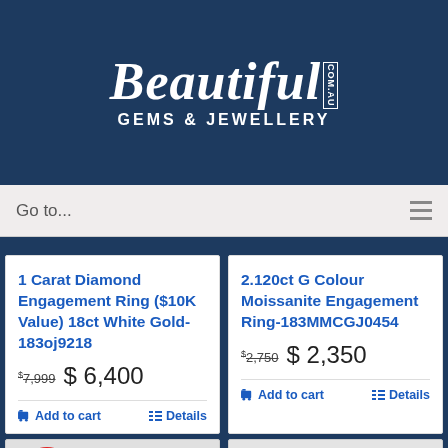[Figure (logo): Beautiful Gems & Jewellery .com.au logo in white script on dark blue background]
Go to...
1 Carat Diamond Engagement Ring ($10K Value) 18ct White Gold-183oj9218
$7,999  $ 6,400
Add to cart   Details
2.120ct G Colour Moissanite Engagement Ring-183MMCGJ0454
$2,750  $ 2,350
Add to cart   Details
Sale!